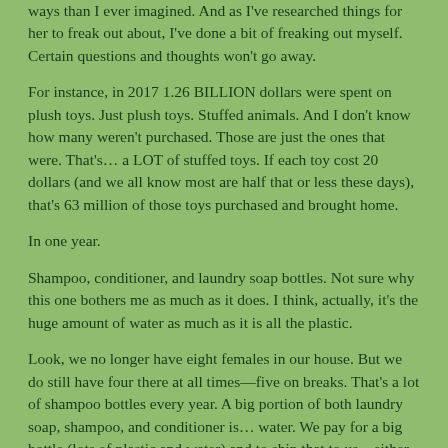ways than I ever imagined. And as I've researched things for her to freak out about, I've done a bit of freaking out myself. Certain questions and thoughts won't go away.
For instance, in 2017 1.26 BILLION dollars were spent on plush toys. Just plush toys. Stuffed animals. And I don't know how many weren't purchased. Those are just the ones that were. That's… a LOT of stuffed toys. If each toy cost 20 dollars (and we all know most are half that or less these days), that's 63 million of those toys purchased and brought home.
In one year.
Shampoo, conditioner, and laundry soap bottles. Not sure why this one bothers me as much as it does. I think, actually, it's the huge amount of water as much as it is all the plastic.
Look, we no longer have eight females in our house. But we do still have four there at all times—five on breaks. That's a lot of shampoo bottles every year. A big portion of both laundry soap, shampoo, and conditioner is… water. We pay for a big bottle (lots of plastic and water) and to ship that to us—either because we had